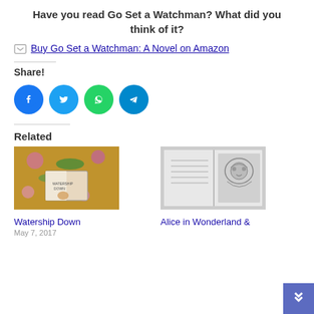Have you read Go Set a Watchman? What did you think of it?
Buy Go Set a Watchman: A Novel on Amazon
Share!
[Figure (infographic): Four social media share buttons: Facebook (blue circle), Twitter (light blue circle), WhatsApp (green circle), Telegram (blue circle)]
Related
[Figure (photo): Photo of Watership Down book with flowers and greenery around it]
[Figure (photo): Black and white photo of an open book with illustrations, Alice in Wonderland]
Watership Down
May 7, 2017
Alice in Wonderland &